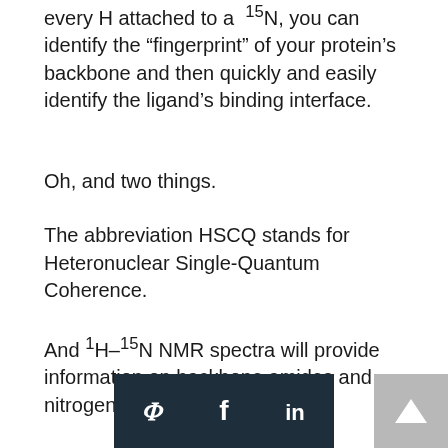every H attached to a N, you can identify the “fingerprint” of your protein’s backbone and then quickly and easily identify the ligand’s binding interface.
Oh, and two things.
The abbreviation HSCQ stands for Heteronuclear Single-Quantum Coherence.
And ¹H-¹⁵N NMR spectra will provide information on backbone amides and nitrogen-containing side-chains.
Anyway.
Chemical shifts, recorded as the difference between the resonance frequencies of a
[Figure (other): Social sharing bar with Twitter, Facebook, and LinkedIn icons on dark background, and a back-to-top button.]